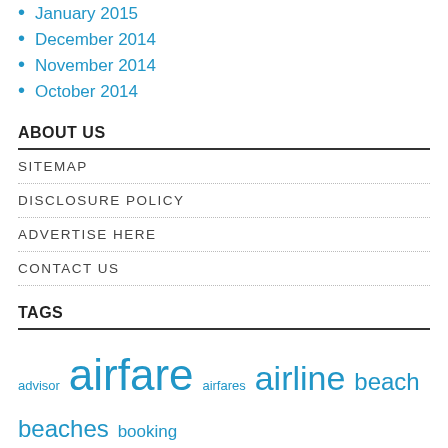January 2015
December 2014
November 2014
October 2014
ABOUT US
SITEMAP
DISCLOSURE POLICY
ADVERTISE HERE
CONTACT US
TAGS
advisor airfare airfares airline beach beaches booking cheap deals discover ebook finest flight flights greatest guide guides holiday holidays hotels inclusive india